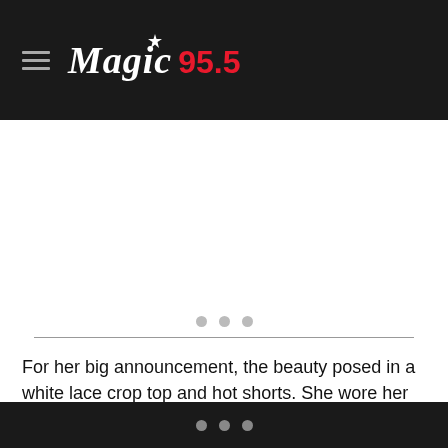Magic 95.5
[Figure (screenshot): Loading placeholder with three gray dots and a horizontal divider line, indicating media content loading]
For her big announcement, the beauty posed in a white lace crop top and hot shorts. She wore her hair long and blonde with soft curls and posed in front of a red Playboy backdrop to resemble the brand's iconic magazine cover. “Excited to announce my newest partnership,
...